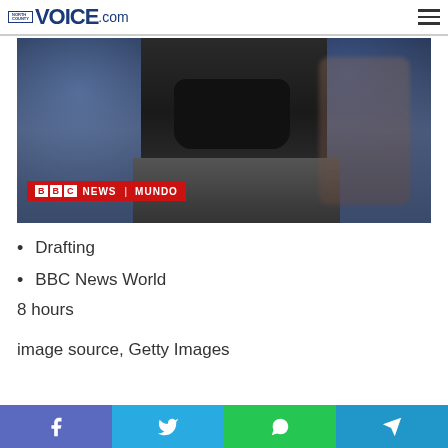North County Voice.com
[Figure (photo): Man wearing a black face mask in a crowd, with BBC News Mundo logo overlay at bottom left]
Drafting
BBC News World
8 hours
image source, Getty Images
Social sharing buttons: Facebook, Twitter, WhatsApp, Telegram